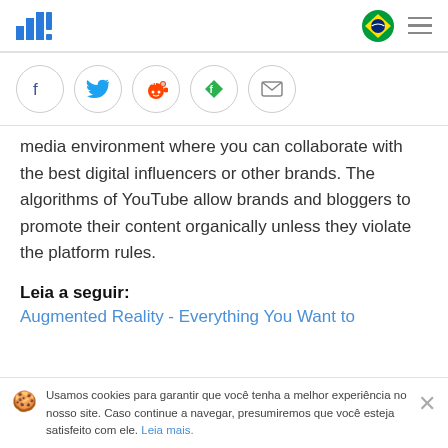In! logo with Brazilian flag and hamburger menu
[Figure (infographic): Social share buttons row: Facebook, Twitter, Reddit, Feedly, Email — each in a circle outline]
media environment where you can collaborate with the best digital influencers or other brands. The algorithms of YouTube allow brands and bloggers to promote their content organically unless they violate the platform rules.
Leia a seguir:
Augmented Reality - Everything You Want to
Usamos cookies para garantir que você tenha a melhor experiência no nosso site. Caso continue a navegar, presumiremos que você esteja satisfeito com ele. Leia mais.